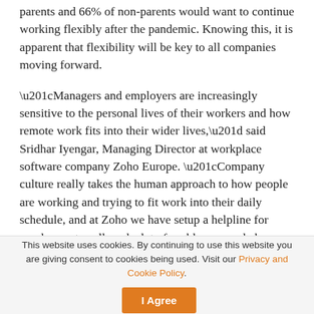parents and 66% of non-parents would want to continue working flexibly after the pandemic. Knowing this, it is apparent that flexibility will be key to all companies moving forward.
“Managers and employers are increasingly sensitive to the personal lives of their workers and how remote work fits into their wider lives,” said Sridhar Iyengar, Managing Director at workplace software company Zoho Europe. “Company culture really takes the human approach to how people are working and trying to fit work into their daily schedule, and at Zoho we have setup a helpline for employees to call, and a lot of problems people have come to us with have been common across the workforce.”
This website uses cookies. By continuing to use this website you are giving consent to cookies being used. Visit our Privacy and Cookie Policy.